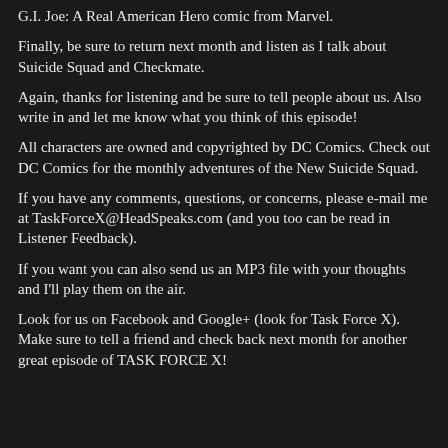G.I. Joe: A Real American Hero comic from Marvel.
Finally, be sure to return next month and listen as I talk about Suicide Squad and Checkmate.
Again, thanks for listening and be sure to tell people about us. Also write in and let me know what you think of this episode!
All characters are owned and copyrighted by DC Comics. Check out DC Comics for the monthly adventures of the New Suicide Squad.
If you have any comments, questions, or concerns, please e-mail me at TaskForceX@HeadSpeaks.com (and you too can be read in Listener Feedback).
If you want you can also send us an MP3 file with your thoughts and I'll play them on the air.
Look for us on Facebook and Google+ (look for Task Force X). Make sure to tell a friend and check back next month for another great episode of TASK FORCE X!